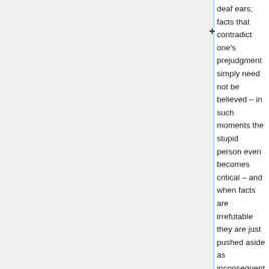deaf ears; facts that contradict one's prejudgment simply need not be believed – in such moments the stupid person even becomes critical – and when facts are irrefutable they are just pushed aside as inconsequential, as incidental. In all this the stupid person, in contrast to the malicious one, is utterly self satisfied and, being easily